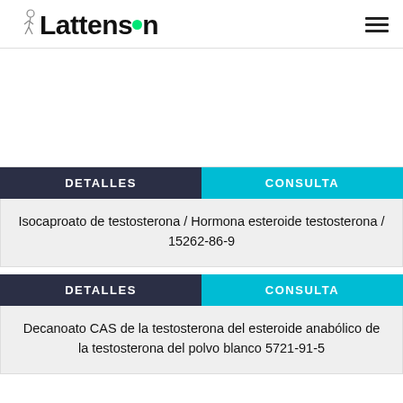Lattenson
[Figure (other): Product image area (white/blank)]
DETALLES | CONSULTA
Isocaproato de testosterona / Hormona esteroide testosterona / 15262-86-9
DETALLES | CONSULTA
Decanoato CAS de la testosterona del esteroide anabólico de la testosterona del polvo blanco 5721-91-5